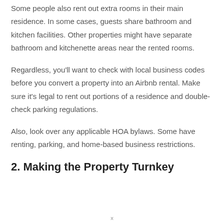Some people also rent out extra rooms in their main residence. In some cases, guests share bathroom and kitchen facilities. Other properties might have separate bathroom and kitchenette areas near the rented rooms.
Regardless, you'll want to check with local business codes before you convert a property into an Airbnb rental. Make sure it's legal to rent out portions of a residence and double-check parking regulations.
Also, look over any applicable HOA bylaws. Some have renting, parking, and home-based business restrictions.
2. Making the Property Turnkey
x